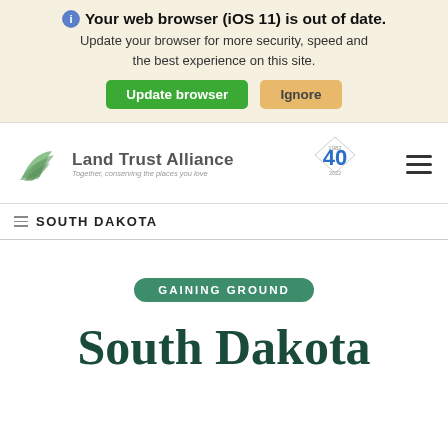Your web browser (iOS 11) is out of date. Update your browser for more security, speed and the best experience on this site.
Update browser | Ignore
[Figure (logo): Land Trust Alliance logo with leaf graphic and 40th anniversary badge]
SOUTH DAKOTA
GAINING GROUND
South Dakota